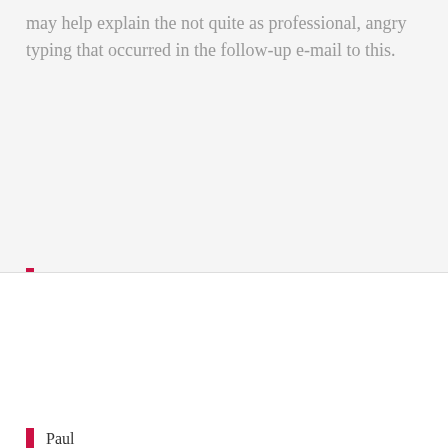may help explain the not quite as professional, angry typing that occurred in the follow-up e-mail to this.
Privacy & Cookies: This site uses cookies. By continuing to use this website, you agree to their use.
To find out more, including how to control cookies, see here: Cookie Policy
Close and accept
Paul